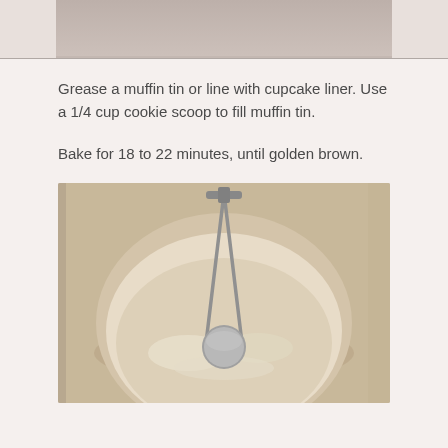[Figure (photo): Top portion of a photo, partially visible at the very top of the page, cropped.]
Grease a muffin tin or line with cupcake liner. Use a 1/4 cup cookie scoop to fill muffin tin.
Bake for 18 to 22 minutes, until golden brown.
[Figure (photo): A cookie/ice cream scoop resting inside a clear glass bowl with remnants of batter or dough, viewed from above on a light beige surface.]